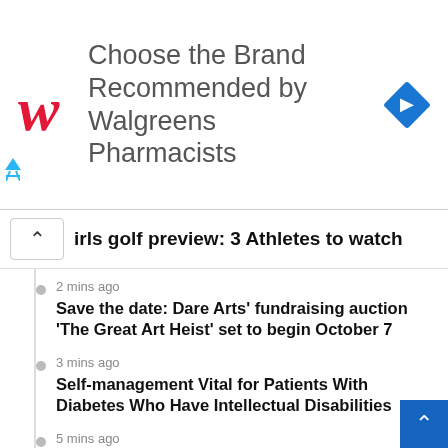[Figure (logo): Walgreens ad banner with red cursive W logo, text 'Choose the Brand Recommended by Walgreens Pharmacists', and a blue diamond navigation icon on the right]
irls golf preview: 3 Athletes to watch
2 mins ago
Save the date: Dare Arts' fundraising auction 'The Great Art Heist' set to begin October 7
3 mins ago
Self-management Vital for Patients With Diabetes Who Have Intellectual Disabilities
5 mins ago
Defining Tre White's role in the rotation next season
10 mins ago
Women's Soccer Set for Home Opener on Thursday vs. Saint Francis U.; Hosts James Madison Sunday